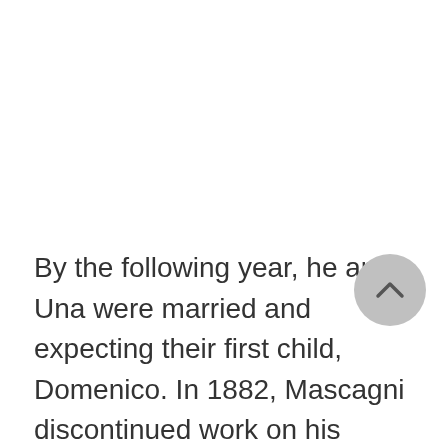By the following year, he and Una were married and expecting their first child, Domenico. In 1882, Mascagni discontinued work on his opera Guglielmo Ratcliff so that he could focus his attention on the composition of Cavelleria Rusticana for the